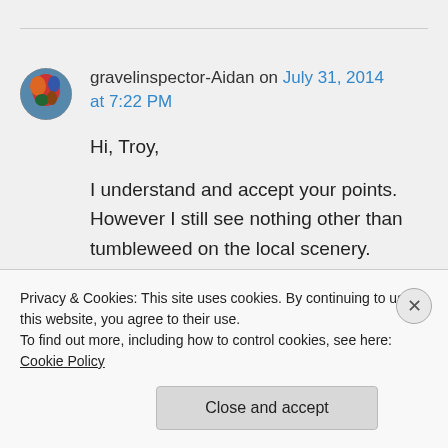gravelinspector-Aidan on July 31, 2014 at 7:22 PM
Hi, Troy,
I understand and accept your points. However I still see nothing other than tumbleweed on the local scenery.
We both know, from previous
Privacy & Cookies: This site uses cookies. By continuing to use this website, you agree to their use.
To find out more, including how to control cookies, see here: Cookie Policy
Close and accept